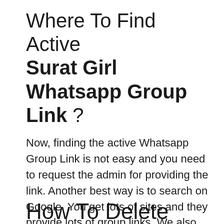Where To Find Active Surat Girl Whatsapp Group Link ?
Now, finding the active Whatsapp Group Link is not easy and you need to request the admin for providing the link. Another best way is to search on Google. You get lots of sites and they provide lots of group links. We also provide lots of Whatsapp Group Links as well.
How To Delete